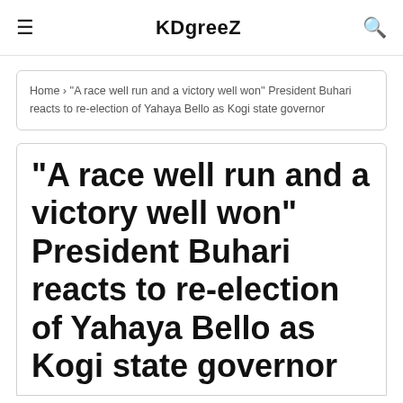KDgreeZ
Home › "A race well run and a victory well won" President Buhari reacts to re-election of Yahaya Bello as Kogi state governor
"A race well run and a victory well won" President Buhari reacts to re-election of Yahaya Bello as Kogi state governor